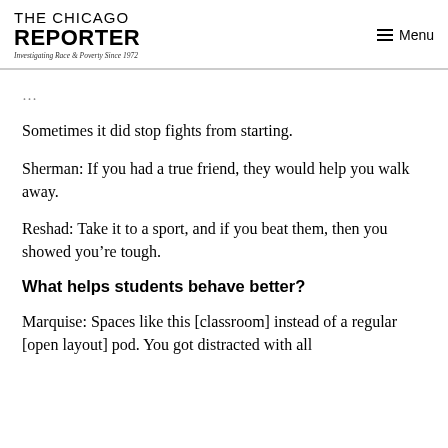THE CHICAGO REPORTER — Investigating Race & Poverty Since 1972 | Menu
Sometimes it did stop fights from starting.
Sherman: If you had a true friend, they would help you walk away.
Reshad: Take it to a sport, and if you beat them, then you showed you're tough.
What helps students behave better?
Marquise: Spaces like this [classroom] instead of a regular [open-layout] pod. You got distracted with all